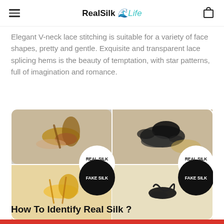RealSilk Life
Elegant V-neck lace stitching is suitable for a variety of face shapes, pretty and gentle. Exquisite and transparent lace splicing hems is the beauty of temptation, with star patterns, full of imagination and romance.
[Figure (photo): Four-panel image showing burn test comparison: top-left shows burned real silk (brownish ash), top-right shows burned fake silk (black carbon residue), bottom-left and bottom-right show similar burn comparisons. Circular labels overlay: white circle 'REAL SILK' and black circle 'FAKE SILK' on left side; same pair on right side.]
How To Identify Real Silk ?